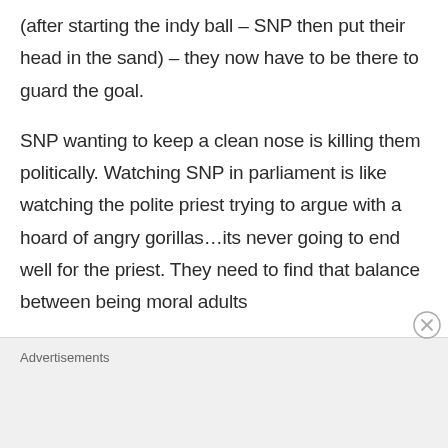(after starting the indy ball – SNP then put their head in the sand) – they now have to be there to guard the goal.
SNP wanting to keep a clean nose is killing them politically. Watching SNP in parliament is like watching the polite priest trying to argue with a hoard of angry gorillas…its never going to end well for the priest. They need to find that balance between being moral adults
Advertisements